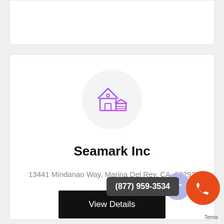[Figure (other): Top white card placeholder (partially visible, no content)]
[Figure (illustration): House/building icon with gradient purple-to-magenta color inside a light gray circle]
Seamark Inc
13441 Mindanao Way, Marina Del Rey, CA, 90292
View Details
(877) 959-3534